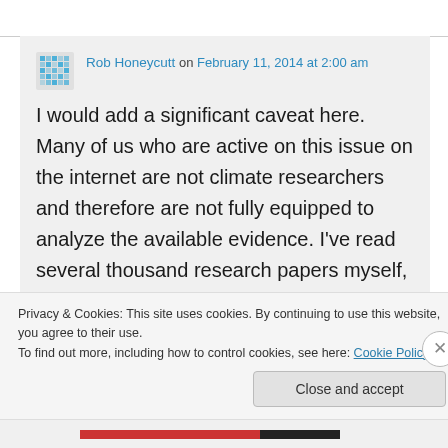Rob Honeycutt on February 11, 2014 at 2:00 am
I would add a significant caveat here. Many of us who are active on this issue on the internet are not climate researchers and therefore are not fully equipped to analyze the available evidence. I've read several thousand research papers myself, but I'd
Privacy & Cookies: This site uses cookies. By continuing to use this website, you agree to their use.
To find out more, including how to control cookies, see here: Cookie Policy
Close and accept